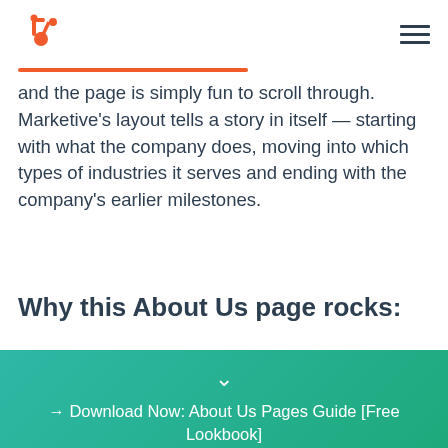HubSpot logo and navigation
and the page is simply fun to scroll through. Marketive's layout tells a story in itself — starting with what the company does, moving into which types of industries it serves and ending with the company's earlier milestones.
Why this About Us page rocks:
→ Download Now: About Us Pages Guide [Free Lookbook]
Get it now